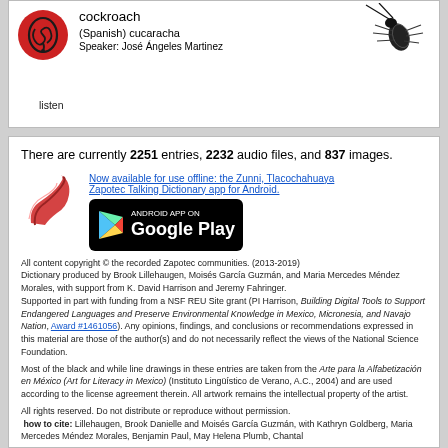cockroach
(Spanish) cucaracha
Speaker: José Ángeles Martinez
[Figure (illustration): Red circular ear icon for audio playback]
listen
[Figure (illustration): Black and white line drawing of a cockroach]
There are currently 2251 entries, 2232 audio files, and 837 images.
[Figure (logo): Zapotec Talking Dictionary app logo (red swirl)]
Now available for use offline: the Zunni, Tlacochahuaya Zapotec Talking Dictionary app for Android.
[Figure (screenshot): Google Play Store badge — Android App on Google Play]
All content copyright © the recorded Zapotec communities. (2013-2019) Dictionary produced by Brook Lillehaugen, Moisés García Guzmán, and Maria Mercedes Méndez Morales, with support from K. David Harrison and Jeremy Fahringer. Supported in part with funding from a NSF REU Site grant (PI Harrison, Building Digital Tools to Support Endangered Languages and Preserve Environmental Knowledge in Mexico, Micronesia, and Navajo Nation, Award #1461056). Any opinions, findings, and conclusions or recommendations expressed in this material are those of the author(s) and do not necessarily reflect the views of the National Science Foundation.
Most of the black and while line drawings in these entries are taken from the Arte para la Alfabetización en México (Art for Literacy in Mexico) (Instituto Lingüístico de Verano, A.C., 2004) and are used according to the license agreement therein. All artwork remains the intellectual property of the artist.
All rights reserved. Do not distribute or reproduce without permission.
how to cite: Lillehaugen, Brook Danielle and Moisés García Guzmán, with Kathryn Goldberg, Maria Mercedes Méndez Morales, Benjamin Paul, May Helena Plumb, Chantal